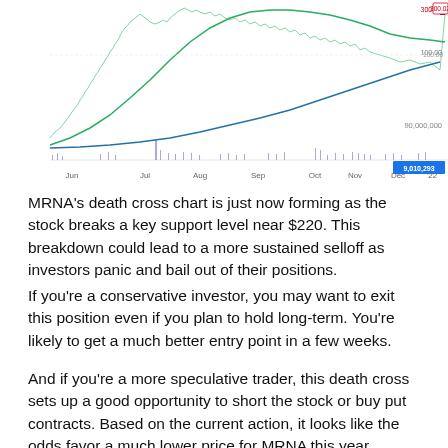[Figure (continuous-plot): Partial stock chart for MRNA showing price action from Jun to Jan '22 with moving averages (green upward curve, blue flattening curve) and a volume histogram at the bottom. Price axis on the right shows values around 100, 200+. A highlighted value of 9,010,293 shown at bottom right in blue. Chart is cropped at the top.]
MRNA's death cross chart is just now forming as the stock breaks a key support level near $220. This breakdown could lead to a more sustained selloff as investors panic and bail out of their positions.
If you're a conservative investor, you may want to exit this position even if you plan to hold long-term. You're likely to get a much better entry point in a few weeks.
And if you're a more speculative trader, this death cross sets up a good opportunity to short the stock or buy put contracts. Based on the current action, it looks like the odds favor a much lower price for MRNA this year.